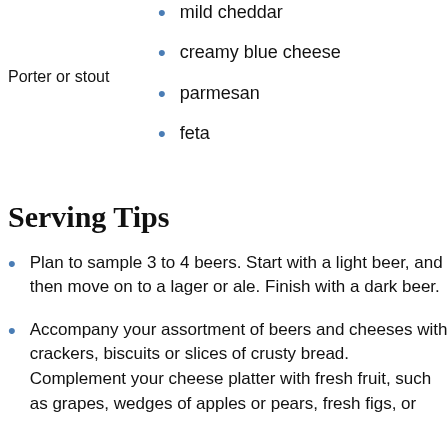mild cheddar
Porter or stout
creamy blue cheese
parmesan
feta
Serving Tips
Plan to sample 3 to 4 beers. Start with a light beer, and then move on to a lager or ale. Finish with a dark beer.
Accompany your assortment of beers and cheeses with crackers, biscuits or slices of crusty bread. Complement your cheese platter with fresh fruit, such as grapes, wedges of apples or pears, fresh figs, or